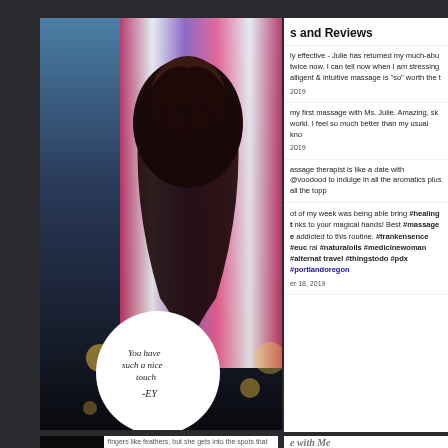[Figure (photo): Photo of a woman with colorful striped fabric at night with bokeh lights, with a white circular quote overlay reading 'You have such a nice touch -EY']
s and Reviews
ly effective - Julie has returned my much-abu twice now. I can tell now when I am stressing alligent & intuitive massage is "so" worth the t
2019
my first massage with Ms. Julie. Amazing, sk workl. I feel so much better than my usual kno
2019
assage therapist is like a date with @voodood to indulge in all the aromatics plus all the topp
ot of my week was being able bring #healing t nks to your magical hands! Best #massage e addicted to this routine. #frankensence #euc ral #naturaloils #medicinewoman #alternat travel #thingstodo #pdx #portlandoregon
er 18, 2019
[Figure (photo): Bottom-left card with dark image and text 'fingers like feathers, but she gets into the spots that need it']
[Figure (photo): Bottom-right card with text partially visible showing 'e with Me']